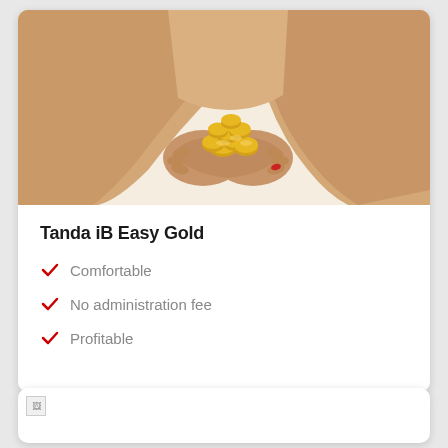[Figure (photo): Person in beige/tan clothing holding gold coins in cupped hands, image cropped to show hands and lower body]
Tanda iB Easy Gold
Comfortable
No administration fee
Profitable
[Figure (photo): Partially loaded/broken image at bottom of page]